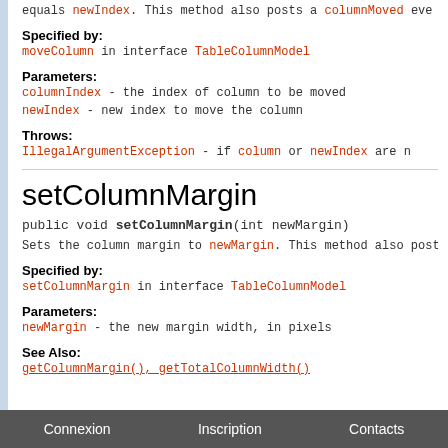equals newIndex. This method also posts a columnMoved eve
Specified by:
moveColumn in interface TableColumnModel
Parameters:
columnIndex - the index of column to be moved
newIndex - new index to move the column
Throws:
IllegalArgumentException - if column or newIndex are n
setColumnMargin
public void setColumnMargin(int newMargin)
Sets the column margin to newMargin. This method also post
Specified by:
setColumnMargin in interface TableColumnModel
Parameters:
newMargin - the new margin width, in pixels
See Also:
getColumnMargin(), getTotalColumnWidth()
Connexion   Inscription   Contacts